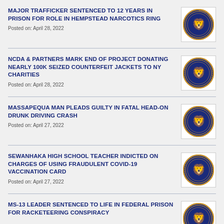MAJOR TRAFFICKER SENTENCED TO 12 YEARS IN PRISON FOR ROLE IN HEMPSTEAD NARCOTICS RING
Posted on: April 28, 2022
NCDA & PARTNERS MARK END OF PROJECT DONATING NEARLY 100K SEIZED COUNTERFEIT JACKETS TO NY CHARITIES
Posted on: April 28, 2022
MASSAPEQUA MAN PLEADS GUILTY IN FATAL HEAD-ON DRUNK DRIVING CRASH
Posted on: April 27, 2022
SEWANHAKA HIGH SCHOOL TEACHER INDICTED ON CHARGES OF USING FRAUDULENT COVID-19 VACCINATION CARD
Posted on: April 27, 2022
MS-13 LEADER SENTENCED TO LIFE IN FEDERAL PRISON FOR RACKETEERING CONSPIRACY